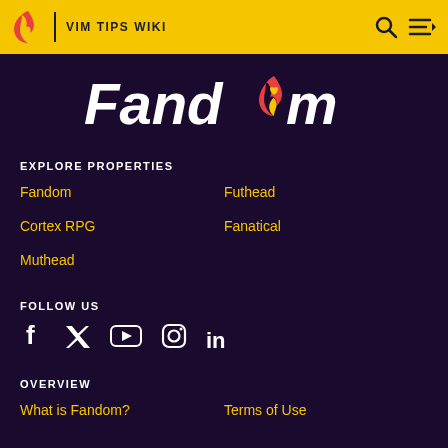VIM TIPS WIKI
[Figure (logo): Fandom wordmark logo in white italic bold text with flame/heart icon replacing the 'o']
EXPLORE PROPERTIES
Fandom
Futhead
Cortex RPG
Fanatical
Muthead
FOLLOW US
[Figure (infographic): Social media icons: Facebook, Twitter, YouTube, Instagram, LinkedIn]
OVERVIEW
What is Fandom?
Terms of Use